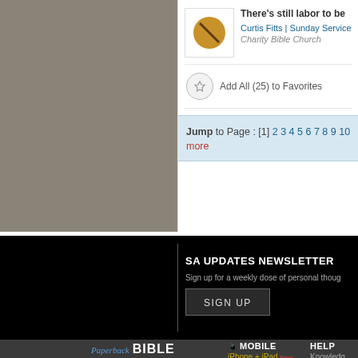[Figure (screenshot): Sermon listing item with thumbnail icon, title 'There's still labor to be', author Curtis Fitts, Sunday Service, Charity Bible Church]
Add All (25) to Favorites
Jump to Page : [1] 2 3 4 5 6 7 8 9 10 more
SA UPDATES NEWSLETTER
Sign up for a weekly dose of personal thoug
SIGN UP
MOBILE
iPhone + iPad New
ChurchOne App New
Watch
Android New
ChurchOne App
HELP
Knowledg
Broa
Lis
Uploa